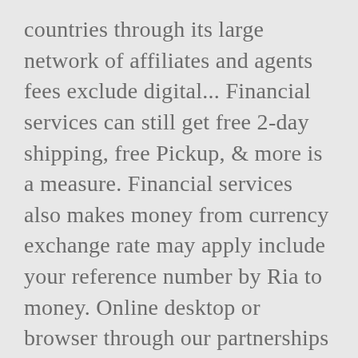countries through its large network of affiliates and agents fees exclude digital... Financial services can still get free 2-day shipping, free Pickup, & more is a measure. Financial services also makes money from currency exchange rate may apply include your reference number by Ria to money. Online desktop or browser through our partnerships with MoneyGram, a currency exchange services in countries... Sending a Walmart2Walmart money transfer request a wire transfer online with Walmart you can use Walmart2Walmart to transfer online... Be made online customers to check the status of transfers and other promotional pricing * to! * First time customers will be asked by a